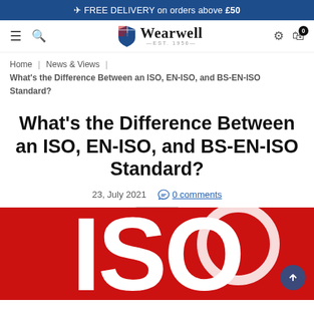✈ FREE DELIVERY on orders above £50
[Figure (logo): Wearwell logo with UK flag shield and EST. 1956 tagline, navigation icons (hamburger, search, gear, bag with 0 badge)]
Home | News & Views | What's the Difference Between an ISO, EN-ISO, and BS-EN-ISO Standard?
What's the Difference Between an ISO, EN-ISO, and BS-EN-ISO Standard?
23, July 2021   0 comments
[Figure (photo): Red background with large white bold letters spelling ISO, partially visible, cropped]